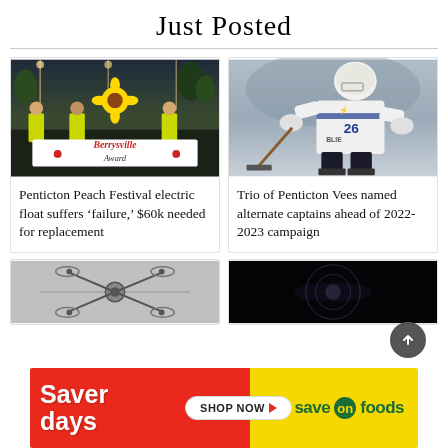Just Posted
[Figure (photo): People holding a Berrysville Award banner at a parade at night with yellow sunflower float decoration]
[Figure (photo): Hockey player wearing number 26 jersey in white and blue uniform skating with a hockey stick]
Penticton Peach Festival electric float suffers ‘failure,’ $60k needed for replacement
Trio of Penticton Vees named alternate captains ahead of 2022-2023 campaign
[Figure (photo): Drone or spider-like mechanical object in black and white]
[Figure (photo): Dark abstract image with faint circular light]
[Figure (other): Save On Foods Saver Days advertisement banner with red left side showing Saver Days text and Shop Now button, and yellow right side showing Save On Foods logo]